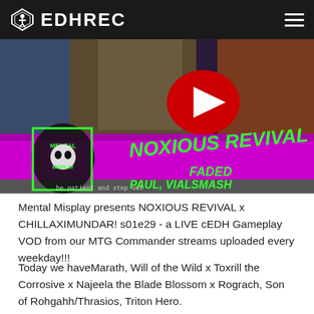EDHREC
[Figure (screenshot): Video thumbnail for Mental Misplay NOXIOUS REVIVAL x CHILLAXIMUNDAR episode. Features game card artwork on dark/colorful background with YouTube play button overlay. Text reads 'NOXIOUS REVIVAL' in large green letters, 'FADED' and 'PAUL, VIALSMAS' partially visible, and 'PAUL MISPLAY' logo with skull graphic.]
Mental Misplay presents NOXIOUS REVIVAL x CHILLAXIMUNDAR! s01e29 - a LIVE cEDH Gameplay VOD from our MTG Commander streams uploaded every weekday!!!
Today we haveMarath, Will of the Wild x Toxrill the Corrosive x Najeela the Blade Blossom x Rograch, Son of Rohgahh/Thrasios, Triton Hero.